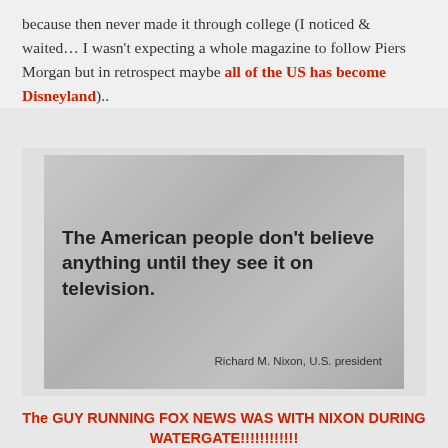because then never made it through college (I noticed & waited… I wasn't expecting a whole magazine to follow Piers Morgan but in retrospect maybe all of the US has become Disneyland)..
[Figure (photo): Photo of a plaque or wall inscription with the quote: 'The American people don't believe anything until they see it on television.' attributed to Richard M. Nixon, U.S. president]
The GUY RUNNING FOX NEWS WAS WITH NIXON DURING WATERGATE!!!!!!!!!!!!